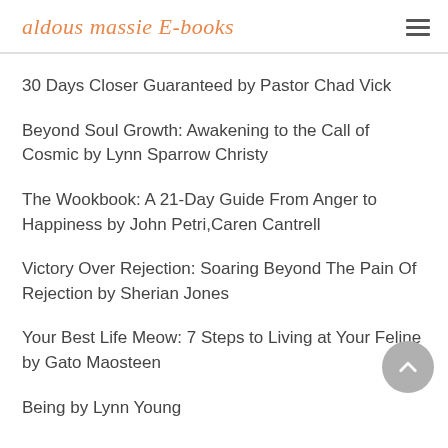aldous massie E-books
30 Days Closer Guaranteed by Pastor Chad Vick
Beyond Soul Growth: Awakening to the Call of Cosmic by Lynn Sparrow Christy
The Wookbook: A 21-Day Guide From Anger to Happiness by John Petri,Caren Cantrell
Victory Over Rejection: Soaring Beyond The Pain Of Rejection by Sherian Jones
Your Best Life Meow: 7 Steps to Living at Your Feline by Gato Maosteen
Being by Lynn Young